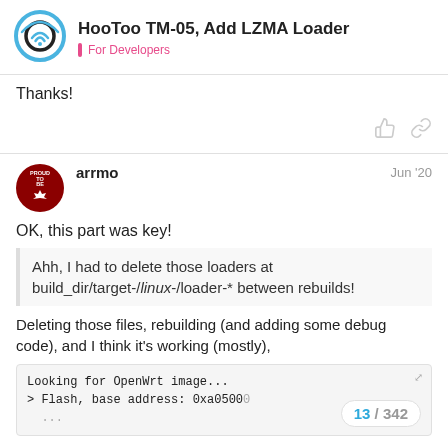HooToo TM-05, Add LZMA Loader — For Developers
Thanks!
arrmo  Jun '20
OK, this part was key!
Ahh, I had to delete those loaders at build_dir/target-/linux-/loader-* between rebuilds!
Deleting those files, rebuilding (and adding some debug code), and I think it's working (mostly),
Looking for OpenWrt image...
> Flash, base address: 0xa0500